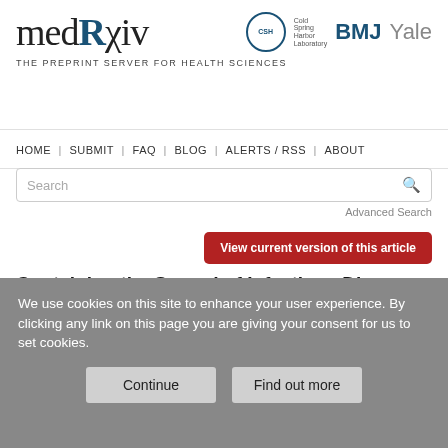[Figure (logo): medRxiv logo with partner logos: Cold Spring Harbor Laboratory (CSH), BMJ, Yale]
THE PREPRINT SERVER FOR HEALTH SCIENCES
HOME | SUBMIT | FAQ | BLOG | ALERTS / RSS | ABOUT
Search
Advanced Search
View current version of this article
Containing the Spread of Infectious Disease on College Campuses
We use cookies on this site to enhance your user experience. By clicking any link on this page you are giving your consent for us to set cookies.
Continue
Find out more